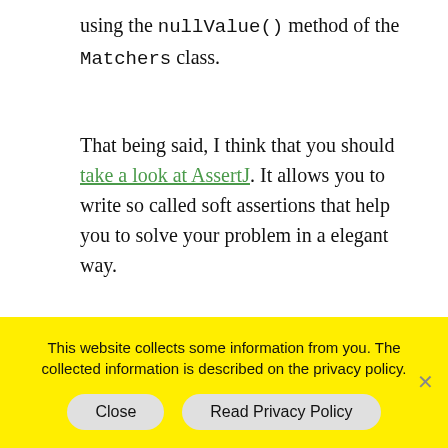using the nullValue() method of the Matchers class.
That being said, I think that you should take a look at AssertJ. It allows you to write so called soft assertions that help you to solve your problem in a elegant way.
The difference between these two methods is that AssertJ runs all assertions (if you use soft assertions) before it reports the results. In other words, if a test case fails, you can see all
This website collects some information from you. The collected information is described on the privacy policy.